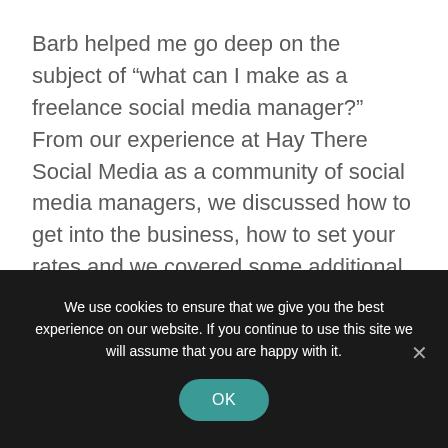Barb helped me go deep on the subject of “what can I make as a freelance social media manager?”  From our experience at Hay There Social Media as a community of social media managers, we discussed how to get into the business, how to set your rates and we covered some additional considerations people should make when shifting from a W-2 employee situation into one of self-
We use cookies to ensure that we give you the best experience on our website. If you continue to use this site we will assume that you are happy with it.